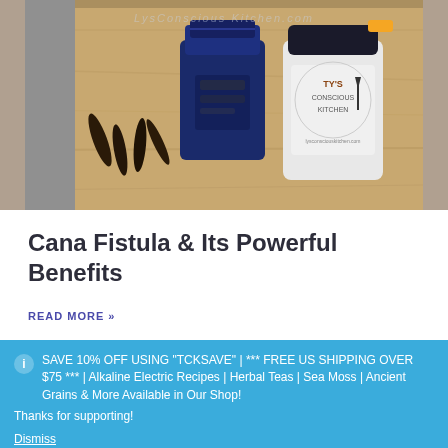[Figure (photo): Photo of Cana Fistula products – a blue pouch/bag and a white cylindrical jar labeled Ty's Conscious Kitchen, with dark seed pods on a wooden cutting board. Watermark text 'LysConsciousKitchen.com' visible.]
Cana Fistula & Its Powerful Benefits
READ MORE »
SAVE 10% OFF USING "TCKSAVE" | *** FREE US SHIPPING OVER $75 *** | Alkaline Electric Recipes | Herbal Teas | Sea Moss | Ancient Grains & More Available in Our Shop! Thanks for supporting!
Dismiss